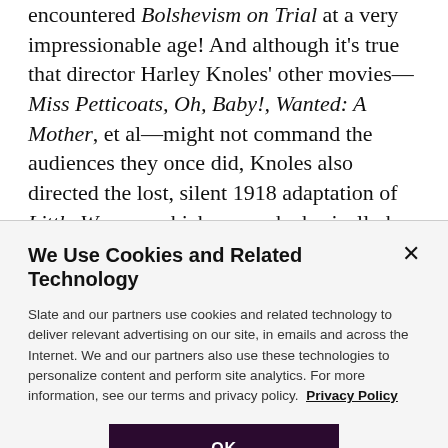encountered Bolshevism on Trial at a very impressionable age! And although it's true that director Harley Knoles' other movies—Miss Petticoats, Oh, Baby!, Wanted: A Mother, et al—might not command the audiences they once did, Knoles also directed the lost, silent 1918 adaptation of Little Women, which means he basically has the same cultural credibility with young voters as Greta Gerwig. Pitting Bernie Sanders against a cultural juggernaut like the Mayflower Photoplay
We Use Cookies and Related Technology
Slate and our partners use cookies and related technology to deliver relevant advertising on our site, in emails and across the Internet. We and our partners also use these technologies to personalize content and perform site analytics. For more information, see our terms and privacy policy.  Privacy Policy